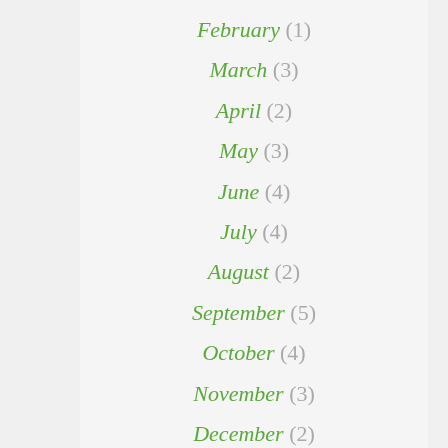February (1)
March (3)
April (2)
May (3)
June (4)
July (4)
August (2)
September (5)
October (4)
November (3)
December (2)
2011